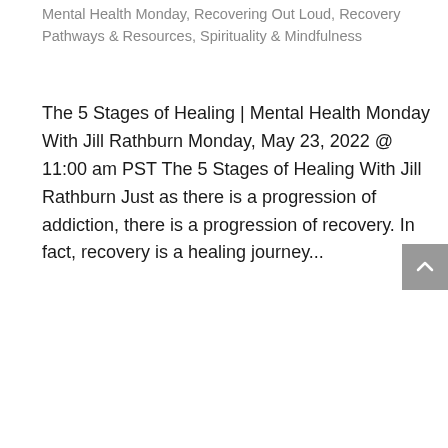Mental Health Monday, Recovering Out Loud, Recovery Pathways & Resources, Spirituality & Mindfulness
The 5 Stages of Healing | Mental Health Monday With Jill Rathburn Monday, May 23, 2022 @ 11:00 am PST The 5 Stages of Healing With Jill Rathburn Just as there is a progression of addiction, there is a progression of recovery. In fact, recovery is a healing journey...